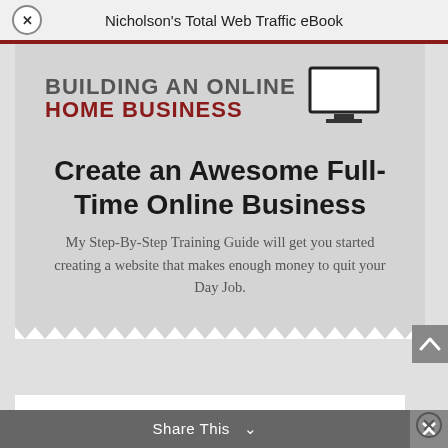Nicholson's Total Web Traffic eBook
[Figure (screenshot): Modal popup showing 'Building an Online Home Business' with monitor icon, heading 'Create an Awesome Full-Time Online Business', subtext about step-by-step training guide, zigzag bottom edge, scroll-up button, partially visible form with Name field, and Share This bar at bottom]
BUILDING AN ONLINE HOME BUSINESS
Create an Awesome Full-Time Online Business
My Step-By-Step Training Guide will get you started creating a website that makes enough money to quit your Day Job.
Co
usin
Name
Share This